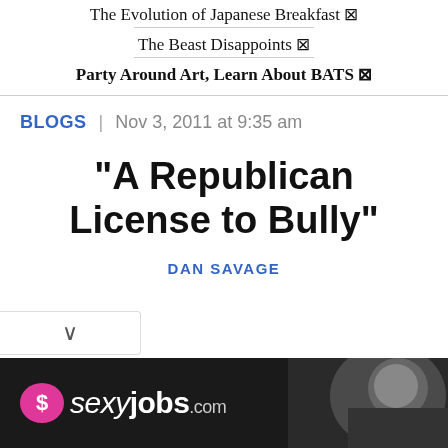The Evolution of Japanese Breakfast ⊠
The Beast Disappoints ⊠
Party Around Art, Learn About BATS ⊠
BLOGS | Nov 3, 2011 at 9:35 am
"A Republican License to Bully"
DAN SAVAGE
[Figure (other): Advertisement banner for sexyjobs.com with pink heart/dollar sign logo and masked woman photo on dark background]